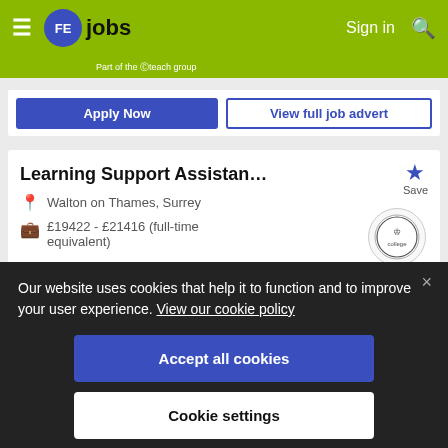FE jobs — Sign in
Apply Now | View full job advert
Learning Support Assistan…
Walton on Thames, Surrey
£19422 - £21416 (full-time equivalent)
Our website uses cookies that help it to function and to improve your user experience. View our cookie policy
Accept all cookies
Cookie settings